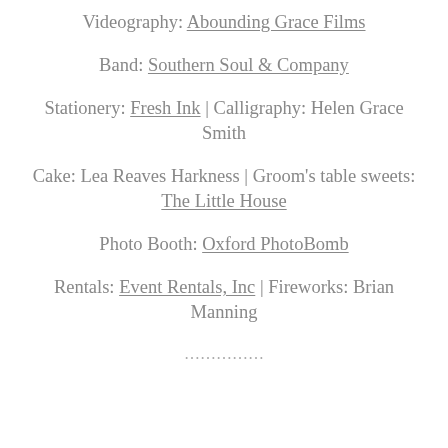Videography: Abounding Grace Films
Band: Southern Soul & Company
Stationery: Fresh Ink | Calligraphy: Helen Grace Smith
Cake: Lea Reaves Harkness | Groom's table sweets: The Little House
Photo Booth: Oxford PhotoBomb
Rentals: Event Rentals, Inc | Fireworks: Brian Manning
...